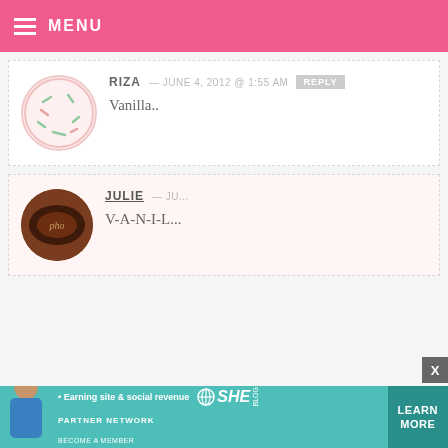MENU
RIZA — JUNE 4, 2012 @ 1:55 AM
Vanilla..
JULIE — JU...
V-A-N-I-L...
[Figure (screenshot): Video player overlay showing a black video window with play button, progress bar at 13:52, and controls including mute, CC, grid, settings, and fullscreen icons]
SANDRA
Vanilla!
[Figure (infographic): Advertisement banner for SHE Partner Network: Earning site & social revenue. LEARN MORE button on teal background with woman's photo.]